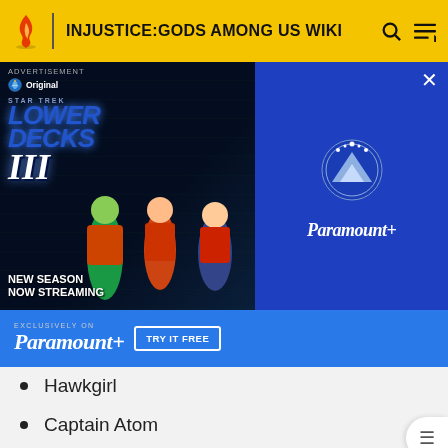INJUSTICE:GODS AMONG US WIKI
[Figure (screenshot): Paramount+ advertisement banner for Star Trek: Lower Decks III, new season now streaming, exclusively on Paramount+, with TRY IT FREE button]
Hawkgirl
Captain Atom
Green Lantern (John Stewart)
The Atom
Atom Smasher
Supergirl
Power Girl
Green Lantern (Kyle Rayner)
Huntress